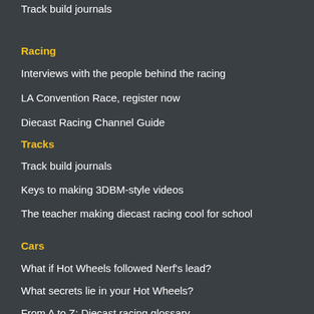Track build journals
Racing
Interviews with the people behind the racing
LA Convention Race, register now
Diecast Racing Channel Guide
Tracks
Track build journals
Keys to making 3DBM-style videos
The teacher making diecast racing cool for school
Cars
What if Hot Wheels followed Nerf's lead?
What secrets lie in your Hot Wheels?
From A to Z: Diecast racing glossary
About